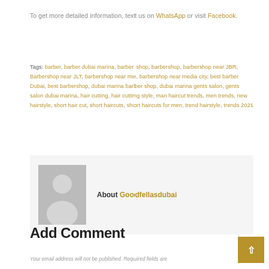To get more detailed information, text us on WhatsApp or visit Facebook.
Tags: barber, barber dubai marina, barber shop, barbershop, barbershop near JBR, Barbershop near JLT, barbershop near me, barbershop near media city, best barber Dubai, best barbershop, dubai marina barber shop, dubai marina gents salon, gents salon dubai marina, hair cutting, hair cutting style, man haircut trends, men trends, new hairstyle, short hair cut, short haircuts, short haircuts for men, trend hairstyle, trends 2021
[Figure (illustration): Author avatar placeholder - grey person silhouette icon on grey background]
About Goodfellasdubai
Add Comment
Your email address will not be published. Required fields are